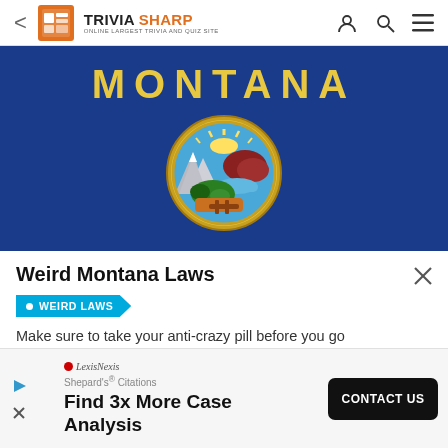< TRIVIA SHARP — ONLINE LARGEST TRIVIA AND QUIZ SITE
[Figure (illustration): Montana state flag: blue background with 'MONTANA' in gold letters at top and the Montana state seal (circular, showing mountains, sun, river, trees, and landscape) in the center.]
Weird Montana Laws
• WEIRD LAWS
Make sure to take your anti-crazy pill before you go
[Figure (infographic): LexisNexis advertisement: Shepard's Citations — Find 3x More Case Analysis. CONTACT US button.]